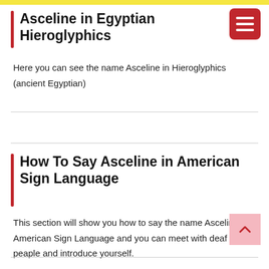Asceline in Egyptian Hieroglyphics
Here you can see the name Asceline in Hieroglyphics (ancient Egyptian)
How To Say Asceline in American Sign Language
This section will show you how to say the name Asceline in American Sign Language and you can meet with deaf peaple and introduce yourself.